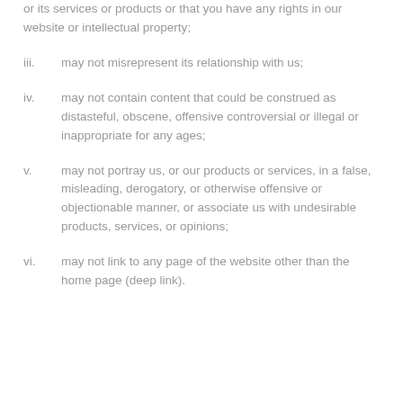or its services or products or that you have any rights in our website or intellectual property;
iii.    may not misrepresent its relationship with us;
iv.    may not contain content that could be construed as distasteful, obscene, offensive controversial or illegal or inappropriate for any ages;
v.    may not portray us, or our products or services, in a false, misleading, derogatory, or otherwise offensive or objectionable manner, or associate us with undesirable products, services, or opinions;
vi.    may not link to any page of the website other than the home page (deep link).